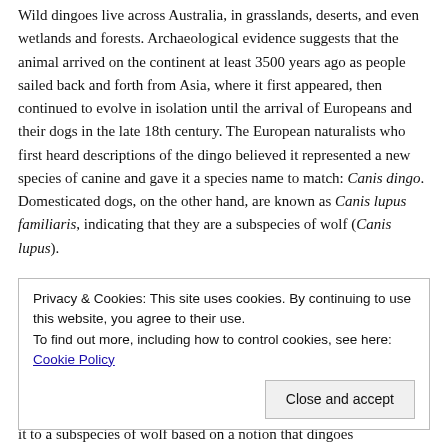Wild dingoes live across Australia, in grasslands, deserts, and even wetlands and forests. Archaeological evidence suggests that the animal arrived on the continent at least 3500 years ago as people sailed back and forth from Asia, where it first appeared, then continued to evolve in isolation until the arrival of Europeans and their dogs in the late 18th century. The European naturalists who first heard descriptions of the dingo believed it represented a new species of canine and gave it a species name to match: Canis dingo. Domesticated dogs, on the other hand, are known as Canis lupus familiaris, indicating that they are a subspecies of wolf (Canis lupus).
But over the next 300 years, scientists began to argue about
Privacy & Cookies: This site uses cookies. By continuing to use this website, you agree to their use.
To find out more, including how to control cookies, see here: Cookie Policy
it to a subspecies of wolf based on a notion that dingoes